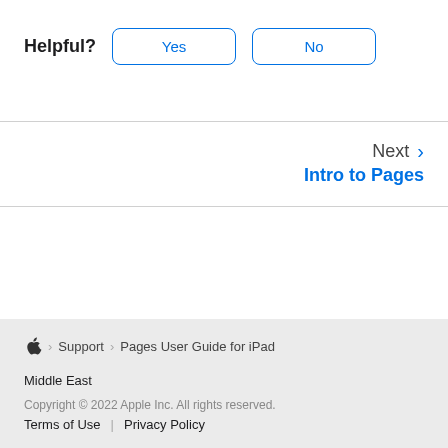Helpful? Yes No
Next › Intro to Pages
Apple › Support › Pages User Guide for iPad
Middle East
Copyright © 2022 Apple Inc. All rights reserved.
Terms of Use | Privacy Policy